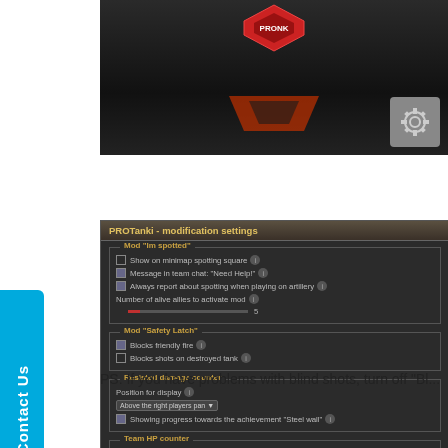[Figure (screenshot): Top portion of a dark-themed game interface showing a logo and navigation button]
[Figure (screenshot): PROTanki modification settings panel showing checkboxes for various game mods including 'Im spotted', 'Safety Latch', 'Resisted damage counter', and 'Team HP counter' sections with various options]
PS. If you have problems with blind shots, turn off "Bl...
Contact Us